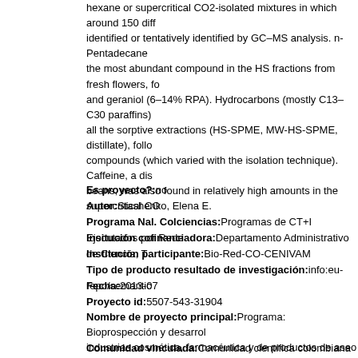hexane or supercritical CO2-isolated mixtures in which around 150 diff identified or tentatively identified by GC–MS analysis. n-Pentadecane the most abundant compound in the HS fractions from fresh flowers, fo and geraniol (6–14% RPA). Hydrocarbons (mostly C13–C30 paraffins) all the sorptive extractions (HS-SPME, MW-HS-SPME, distillate), follo compounds (which varied with the isolation technique). Caffeine, a dis beans, was also found in relatively high amounts in the supercritical CO
Es proyecto?:no
Autor:Stashenko, Elena E.
Programa Nal. Colciencias:Programas de CT+I Ejecutados por Rede
Insitución cofinanciadora:Departamento Administrativo de Ciencia, T
Institución participante:Bio-Red-CO-CENIVAM
Tipo de producto resultado de investigación:info:eu-repo/semantic
Fecha:2013-07
Proyecto id:5507-543-31904
Nombre de proyecto principal:Programa: Bioprospección y desarroll industrias cosmética, farmacéutica y de productos de aseo con base e
Comunidad vinculada:Comunidad científica colombiana
[Figure (illustration): Document/file icon (gray folded-corner page icon)]
Acoplamiento molecular in sillico de los com con las proteínas del virus del dengue
Pájaro Castro, Nerlis; Olivero Vebel, Jesús; Stashenk